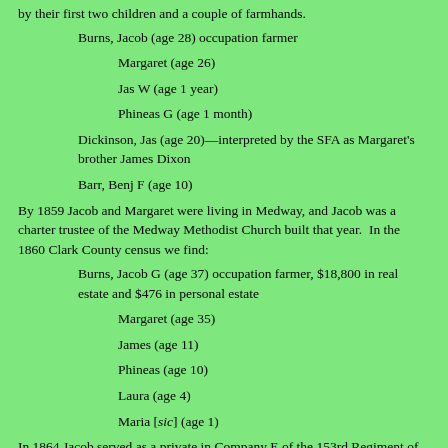by their first two children and a couple of farmhands.
Burns, Jacob (age 28) occupation farmer
Margaret (age 26)
Jas W (age 1 year)
Phineas G (age 1 month)
Dickinson, Jas (age 20)—interpreted by the SFA as Margaret's brother James Dixon
Barr, Benj F (age 10)
By 1859 Jacob and Margaret were living in Medway, and Jacob was a charter trustee of the Medway Methodist Church built that year.  In the 1860 Clark County census we find:
Burns, Jacob G (age 37) occupation farmer, $18,800 in real estate and $476 in personal estate
Margaret (age 35)
James (age 11)
Phineas (age 10)
Laura (age 4)
Maria [sic] (age 1)
In 1864 Jacob served as a private in Company E of the 153rd Regiment of the Ohio National Guard Infantry.  According to ~153rd, this unit of 909 men was